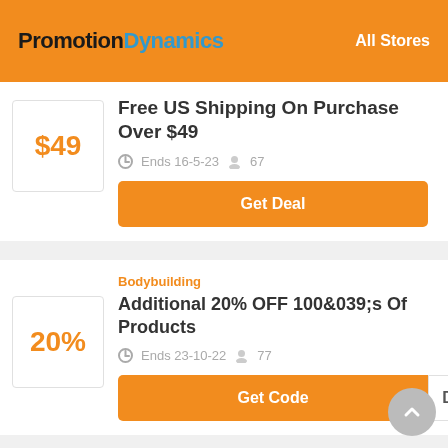PromotionDynamics   All Stores
$49
Free US Shipping On Purchase Over $49
Ends 16-5-23  67
Get Deal
Bodybuilding
20%
Additional 20% OFF 100&039;s Of Products
Ends 23-10-22  77
Get Code